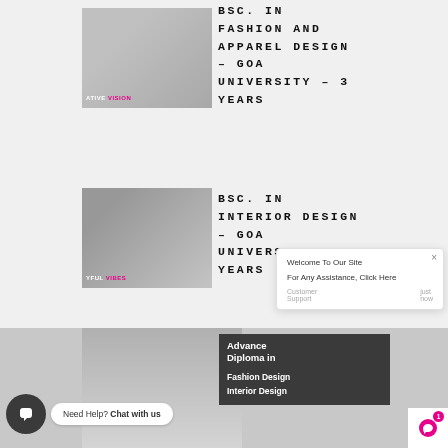[Figure (photo): Grayscale photo of a woman with clothing rack, label 'ATIVE VISION' in pink]
BSC. IN FASHION AND APPAREL DESIGN – GOA UNIVERSITY – 3 YEARS
[Figure (photo): Grayscale photo of a woman holding paper to head, label 'YFUL VIBES' in pink]
BSC. IN INTERIOR DESIGN – GOA UNIVERSITY – 3 YEARS
[Figure (photo): Screenshot/website section showing Advance Diploma in Fashion Design, Interior Design options, with chat widget and popup overlay]